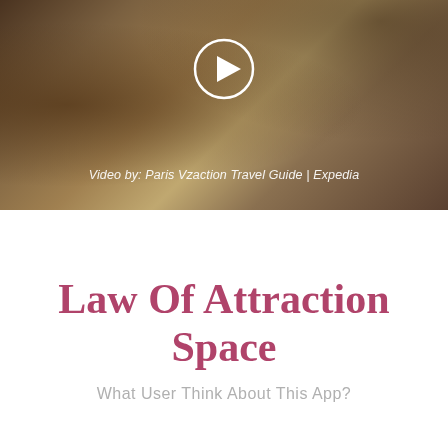[Figure (screenshot): Video thumbnail showing a travel-themed background with a map, magnifying glass, notebook and pencil. A white circular play button is centered at the top. Caption reads: Video by: Paris Vzaction Travel Guide | Expedia]
Video by: Paris Vzaction Travel Guide | Expedia
Law Of Attraction Space
What User Think About This App?